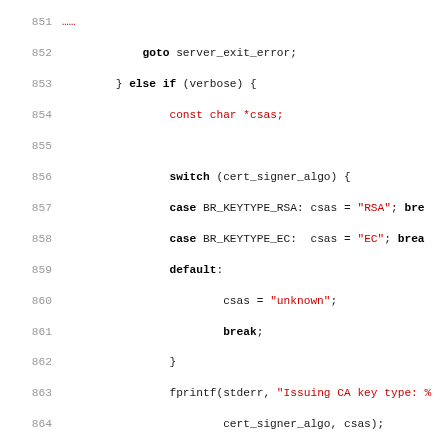[Figure (screenshot): Source code listing in C showing lines 851-883, with syntax highlighting: keywords in bold black, string literals in red, numeric literals in blue, comments in gray italic, and function/variable names in black monospace.]